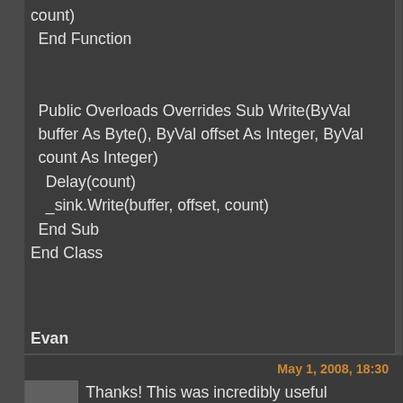count)
    End Function

    Public Overloads Overrides Sub Write(ByVal buffer As Byte(), ByVal offset As Integer, ByVal count As Integer)
        Delay(count)
        _sink.Write(buffer, offset, count)
    End Sub
End Class
Evan
May 1, 2008, 18:30
Thanks! This was incredibly useful